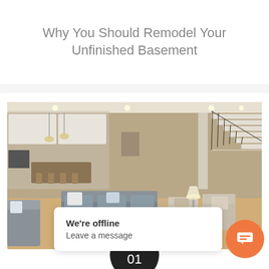Why You Should Remodel Your Unfinished Basement
[Figure (photo): Interior photo of a modern open floor plan home showing a living room with gray sofas, coffee table, kitchen area with island and bar stools, pendant lights, and a staircase with black iron railings on the right side]
MAR 01
What Makes Open Floor Plans
We're offline
Leave a message